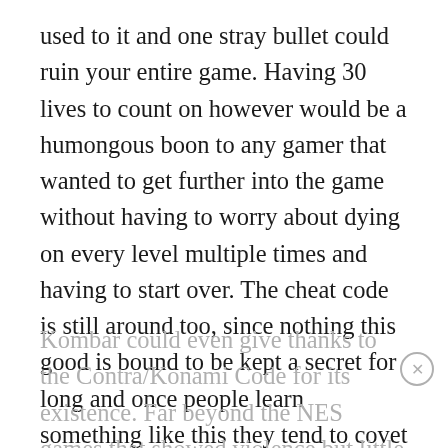used to it and one stray bullet could ruin your entire game. Having 30 lives to count on however would be a humongous boon to any gamer that wanted to get further into the game without having to worry about dying on every level multiple times and having to start over. The cheat code is still around too, since nothing this good is bound to be kept a secret for long and once people learn something like this they tend to covet it and hang onto it for a while. It’s gone through its variations but if you think about it, the blood code for Mortal Kombat could even give thanks to the Contra/Konami Code for its existence. Far beyond the NES games that showed violence but little else, Mortal Kombat could show the action without the